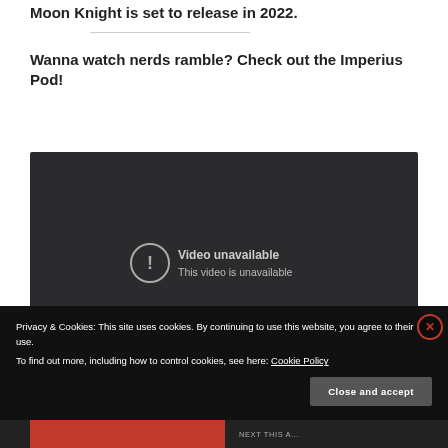Moon Knight is set to release in 2022.
Wanna watch nerds ramble? Check out the Imperius Pod!
[Figure (screenshot): Embedded YouTube video player showing 'Video unavailable - This video is unavailable' message on dark background]
Privacy & Cookies: This site uses cookies. By continuing to use this website, you agree to their use.
To find out more, including how to control cookies, see here: Cookie Policy
Close and accept